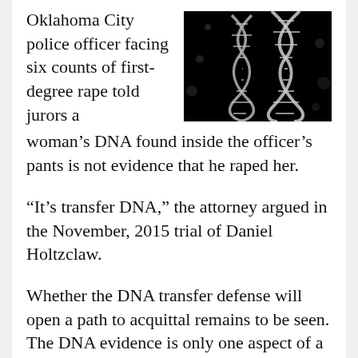Oklahoma City police officer facing six counts of first-degree rape told jurors a woman's DNA found inside the officer's pants is not evidence that he raped her.
[Figure (photo): Close-up photo of a glowing DNA double helix structure on a dark/black background]
“It’s transfer DNA,” the attorney argued in the November, 2015 trial of Daniel Holtzclaw.
Whether the DNA transfer defense will open a path to acquittal remains to be seen. The DNA evidence is only one aspect of a case that also includes victims’ testimony and GPS data about the officers’ location at times when 13 women allege he assaulted them.
The DNA transfer argument, however, reveals